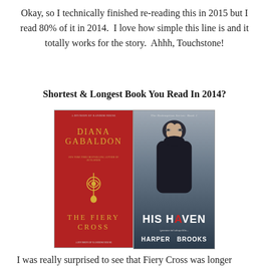Okay, so I technically finished re-reading this in 2015 but I read 80% of it in 2014.  I love how simple this line is and it totally works for the story.  Ahhh, Touchstone!
Shortest & Longest Book You Read In 2014?
[Figure (illustration): Two book covers side by side. Left: 'The Fiery Cross' by Diana Gabaldon on a red background with gold text and a gold emblem. Right: 'His Haven' by Harper Brooks, dark gothic cover with a woman in black, subtitle 'The Redemption Series: Book 1'.]
I was really surprised to see that Fiery Cross was longer